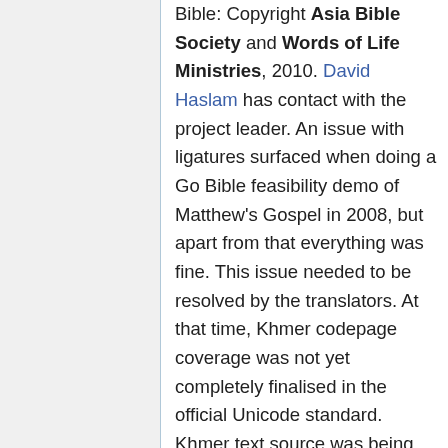Bible: Copyright Asia Bible Society and Words of Life Ministries, 2010. David Haslam has contact with the project leader. An issue with ligatures surfaced when doing a Go Bible feasibility demo of Matthew's Gospel in 2008, but apart from that everything was fine. This issue needed to be resolved by the translators. At that time, Khmer codepage coverage was not yet completely finalised in the official Unicode standard. Khmer text source was being edited by translators using MS Excel, rather than something more common (USFM) among Bible translators. Red letters used for WoC. Would need considerable effort to format